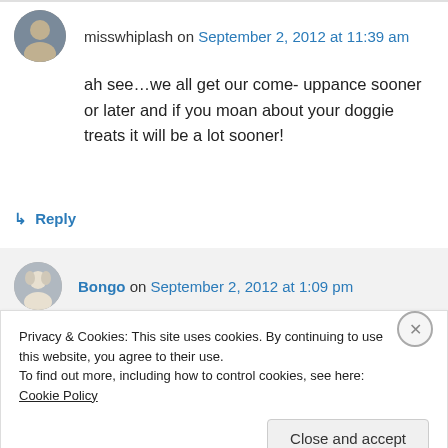misswhiplash on September 2, 2012 at 11:39 am
ah see…we all get our come- uppance sooner or later and if you moan about your doggie treats it will be a lot sooner!
↳ Reply
Bongo on September 2, 2012 at 1:09 pm
Privacy & Cookies: This site uses cookies. By continuing to use this website, you agree to their use.
To find out more, including how to control cookies, see here: Cookie Policy
Close and accept